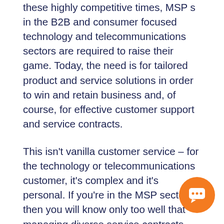these highly competitive times, MSP sin the B2B and consumer focused technology and telecommunications sectors are required to raise their game. Today, the need is for tailored product and service solutions in order to win and retain business and, of course, for effective customer support and service contracts.
This isn't vanilla customer service – for the technology or telecommunications customer, it's complex and it's personal. If you're in the MSP sector, then you will know only too well that managing diverse service contracts with attendant customer hierarchies and billing structures is comple... You need to be able to manage multiple
[Figure (other): Orange circular chat/support button icon in the bottom-right corner]